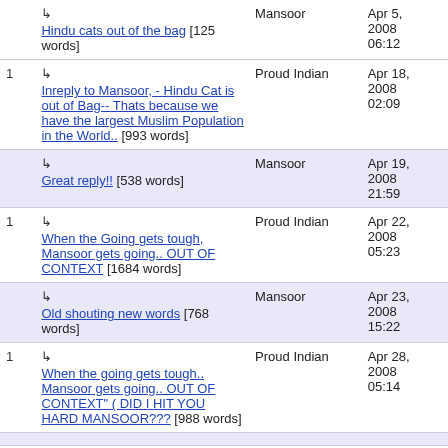|  |  | Author | Date |
| --- | --- | --- | --- |
|  | ↳ Hindu cats out of the bag [125 words] | Mansoor | Apr 5, 2008 06:12 |
| 1 | ↳ Inreply to Mansoor, - Hindu Cat is out of Bag-- Thats because we have the largest Muslim Population in the World.. [993 words] | Proud Indian | Apr 18, 2008 02:09 |
|  | ↳ Great reply!! [538 words] | Mansoor | Apr 19, 2008 21:59 |
| 1 | ↳ When the Going gets tough, Mansoor gets going.. OUT OF CONTEXT [1684 words] | Proud Indian | Apr 22, 2008 05:23 |
|  | ↳ Old shouting new words [768 words] | Mansoor | Apr 23, 2008 15:22 |
| 1 | ↳ When the going gets tough.. Mansoor gets going.. OUT OF CONTEXT" ( DID I HIT YOU HARD MANSOOR??? [988 words] | Proud Indian | Apr 28, 2008 05:14 |